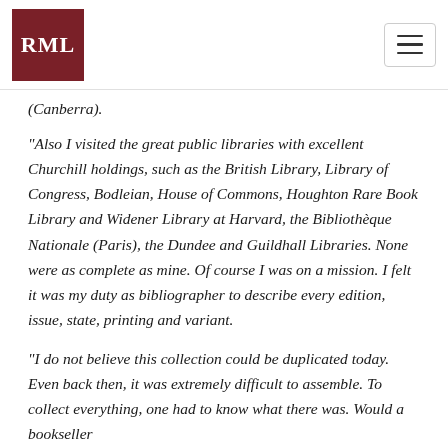RML
(Canberra).
“Also I visited the great public libraries with excellent Churchill holdings, such as the British Library, Library of Congress, Bodleian, House of Commons, Houghton Rare Book Library and Widener Library at Harvard, the Bibliothèque Nationale (Paris), the Dundee and Guildhall Libraries. None were as complete as mine. Of course I was on a mission. I felt it was my duty as bibliographer to describe every edition, issue, state, printing and variant.
“I do not believe this collection could be duplicated today. Even back then, it was extremely difficult to assemble. To collect everything, one had to know what there was. Would a bookseller